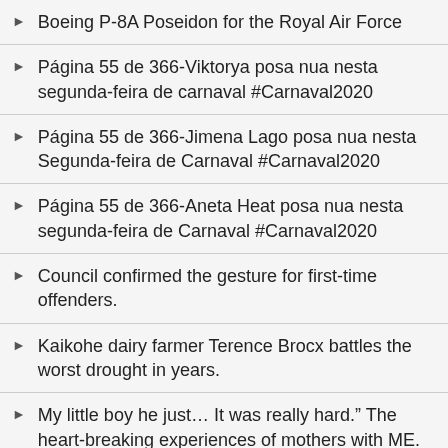Boeing P-8A Poseidon for the Royal Air Force
Página 55 de 366-Viktorya posa nua nesta segunda-feira de carnaval #Carnaval2020
Página 55 de 366-Jimena Lago posa nua nesta Segunda-feira de Carnaval #Carnaval2020
Página 55 de 366-Aneta Heat posa nua nesta segunda-feira de Carnaval #Carnaval2020
Council confirmed the gesture for first-time offenders.
Kaikohe dairy farmer Terence Brocx battles the worst drought in years.
My little boy he just… It was really hard." The heart-breaking experiences of mothers with ME.
Queensland enlisted to join space race | Nine News Australia